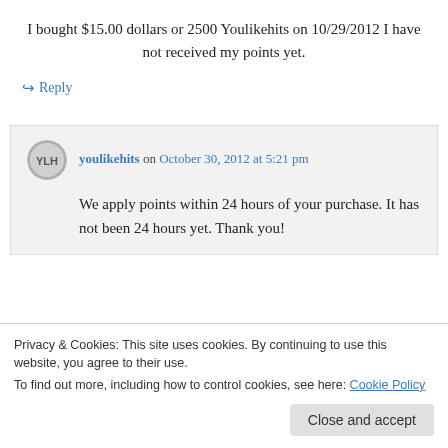I bought $15.00 dollars or 2500 Youlikehits on 10/29/2012 I have not received my points yet.
↪ Reply
youlikehits on October 30, 2012 at 5:21 pm
We apply points within 24 hours of your purchase. It has not been 24 hours yet. Thank you!
Privacy & Cookies: This site uses cookies. By continuing to use this website, you agree to their use.
To find out more, including how to control cookies, see here: Cookie Policy